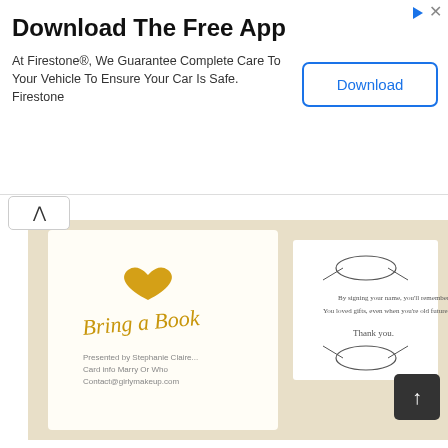[Figure (screenshot): Advertisement banner for Firestone app download: 'Download The Free App' with text 'At Firestone®, We Guarantee Complete Care To Your Vehicle To Ensure Your Car Is Safe. Firestone' and a Download button]
[Figure (photo): Baby shower 'Bring a Book' card with gold heart graphic and script text, alongside a thank you card with floral wreath design]
Cards Sign Free Printable
[Figure (photo): Apple Ornament with Gift Card Holder craft project showing two red felt apple ornaments with red ribbon and green leaf, one plain and one holding a gift card]